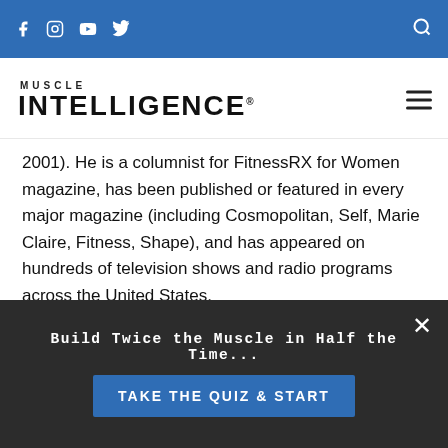Muscle Intelligence — navigation bar with social icons and search
[Figure (logo): Muscle Intelligence logo with MUSCLE in small caps above large INTELLIGENCE text]
2001). He is a columnist for FitnessRX for Women magazine, has been published or featured in every major magazine (including Cosmopolitan, Self, Marie Claire, Fitness, Shape), and has appeared on hundreds of television shows and radio programs across the United States.
Certified as a strength and conditioning specialist by the National Strength and Conditioning Association and as a personal trainer by both the American
Build Twice the Muscle in Half the Time...
TAKE THE QUIZ & START